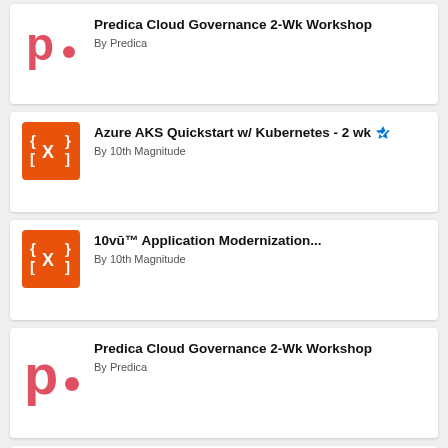Predica Cloud Governance 2-Wk Workshop
By Predica
Azure AKS Quickstart w/ Kubernetes - 2 wk
By 10th Magnitude
10vū™ Application Modernization...
By 10th Magnitude
Predica Cloud Governance 2-Wk Workshop
By Predica
Predica Cloud Governance 2-Wk Workshop